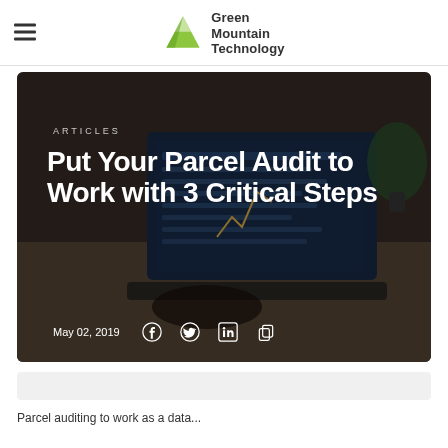Green Mountain Technology
[Figure (photo): Hero image showing a person typing on a laptop with a data/analytics screen visible, dark overlay with article category label, title text, date, and social share icons]
Put Your Parcel Audit to Work with 3 Critical Steps
ARTICLES
May 02, 2019
Parcel auditing...